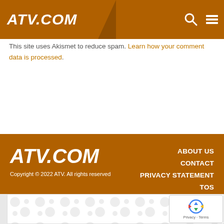ATV.COM
This site uses Akismet to reduce spam. Learn how your comment data is processed.
ATV.COM
Copyright © 2022 ATV. All rights reserved
ABOUT US
CONTACT
PRIVACY STATEMENT
TOS
ADVERTISING
STAFF AND CONTRIBUTORS
COPYRIGHT